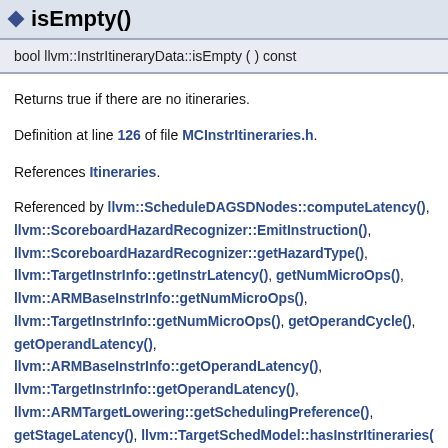isEmpty()
bool llvm::InstrItineraryData::isEmpty ( ) const
Returns true if there are no itineraries.
Definition at line 126 of file MCInstrItineraries.h.
References Itineraries.
Referenced by llvm::ScheduleDAGSDNodes::computeLatency(), llvm::ScoreboardHazardRecognizer::EmitInstruction(), llvm::ScoreboardHazardRecognizer::getHazardType(), llvm::TargetInstrInfo::getInstrLatency(), getNumMicroOps(), llvm::ARMBaseInstrInfo::getNumMicroOps(), llvm::TargetInstrInfo::getNumMicroOps(), getOperandCycle(), getOperandLatency(), llvm::ARMBaseInstrInfo::getOperandLatency(), llvm::TargetInstrInfo::getOperandLatency(), llvm::ARMTargetLowering::getSchedulingPreference(), getStageLatency(), llvm::TargetSchedModel::hasInstrItineraries(